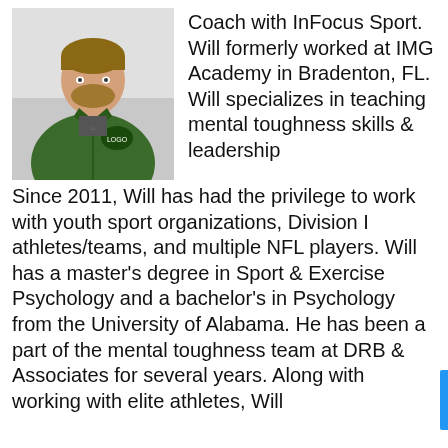[Figure (photo): Headshot of a man wearing a green zip-up athletic jacket with a team logo, photographed against a light background.]
Coach with InFocus Sport. Will formerly worked at IMG Academy in Bradenton, FL. Will specializes in teaching mental toughness skills & leadership  Since 2011, Will has had the privilege to work with youth sport organizations, Division I athletes/teams, and multiple NFL players. Will has a master's degree in Sport & Exercise Psychology and a bachelor's in Psychology from the University of Alabama. He has been a part of the mental toughness team at DRB & Associates for several years. Along with working with elite athletes, Will